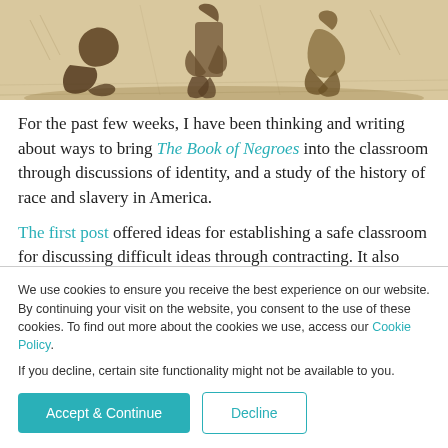[Figure (illustration): Black and white historical engraving/illustration depicting figures in a scene, rendered in ink on aged paper with warm beige/tan background tones.]
For the past few weeks, I have been thinking and writing about ways to bring The Book of Negroes into the classroom through discussions of identity, and a study of the history of race and slavery in America.
The first post offered ideas for establishing a safe classroom for discussing difficult ideas through contracting. It also offered a
We use cookies to ensure you receive the best experience on our website. By continuing your visit on the website, you consent to the use of these cookies. To find out more about the cookies we use, access our Cookie Policy. If you decline, certain site functionality might not be available to you.
Accept & Continue
Decline